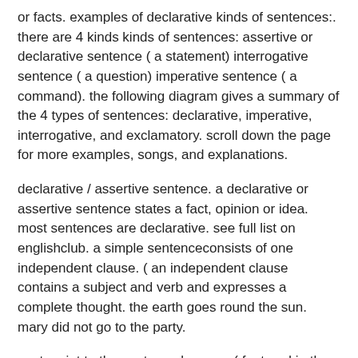or facts. examples of declarative kinds of sentences:. there are 4 kinds kinds of sentences: assertive or declarative sentence ( a statement) interrogative sentence ( a question) imperative sentence ( a command). the following diagram gives a summary of the 4 types of sentences: declarative, imperative, interrogative, and exclamatory. scroll down the page for more examples, songs, and explanations.
declarative / assertive sentence. a declarative or assertive sentence states a fact, opinion or idea. most sentences are declarative. see full list on englishclub. a simple sentenceconsists of one independent clause. ( an independent clause contains a subject and verb and expresses a complete thought. the earth goes round the sun. mary did not go to the party.
next, point to the sentence banners ( featured in the printable linked above) and ask students if anyone can explain or give an example of the sentence types listed. then, go over the definitions of the four types of sentences: declarative,